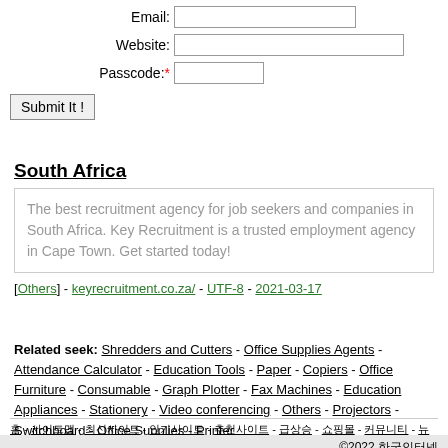Email: [input field]
Website: [input field]
Passcode:* [input field]
Submit It !
South Africa
The best recruitment agency for job seekers and companies in South Africa. Key Recruitment is a trusted employment agency in Cape Town. Get started today!
[Others] - keyrecruitment.co.za/ - UTF-8 - 2021-03-17
Related seek: Shredders and Cutters - Office Supplies Agents - Attendance Calculator - Education Tools - Paper - Copiers - Office Furniture - Consumable - Graph Plotter - Fax Machines - Education Appliances - Stationery - Video conferencing - Others - Projectors - Switchboard - Office Supplies - Printer
[Korean links] - ©2022 [Korean text]